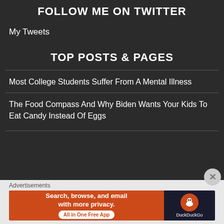FOLLOW ME ON TWITTER
My Tweets
TOP POSTS & PAGES
Most College Students Suffer From A Mental Illness
The Food Compass And Why Biden Wants Your Kids To Eat Candy Instead Of Eggs
Advertisements
[Figure (other): DuckDuckGo advertisement banner: 'Search, browse, and email with more privacy. All in One Free App' on orange background with DuckDuckGo logo on dark background]